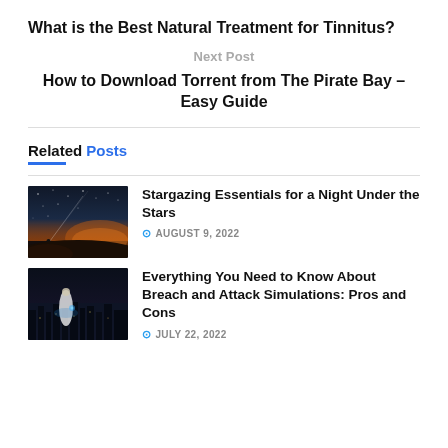What is the Best Natural Treatment for Tinnitus?
Next Post
How to Download Torrent from The Pirate Bay – Easy Guide
Related Posts
Stargazing Essentials for a Night Under the Stars
AUGUST 9, 2022
Everything You Need to Know About Breach and Attack Simulations: Pros and Cons
JULY 22, 2022